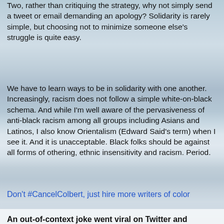Two, rather than critiquing the strategy, why not simply send a tweet or email demanding an apology? Solidarity is rarely simple, but choosing not to minimize someone else's struggle is quite easy.
We have to learn ways to be in solidarity with one another. Increasingly, racism does not follow a simple white-on-black schema. And while I'm well aware of the pervasiveness of anti-black racism among all groups including Asians and Latinos, I also know Orientalism (Edward Said's term) when I see it. And it is unacceptable. Black folks should be against all forms of othering, ethnic insensitivity and racism. Period.
Don't #CancelColbert, just hire more writers of color
An out-of-context joke went viral on Twitter and sparked a national debate about the limits of satire
By Prachi Gupta
But in the segment, Colbert built the punch line upon a cringe-worthy depiction of a “Chinaman” that went on